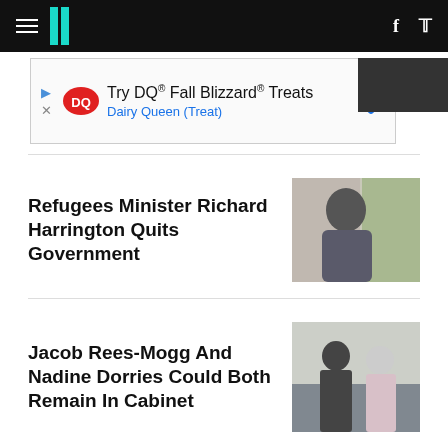HuffPost navigation
[Figure (other): Advertisement banner: Try DQ® Fall Blizzard® Treats - Dairy Queen (Treat)]
Refugees Minister Richard Harrington Quits Government
[Figure (photo): Photo of Richard Harrington, a middle-aged man in a suit]
Jacob Rees-Mogg And Nadine Dorries Could Both Remain In Cabinet
[Figure (photo): Photo of Jacob Rees-Mogg and Nadine Dorries standing outside]